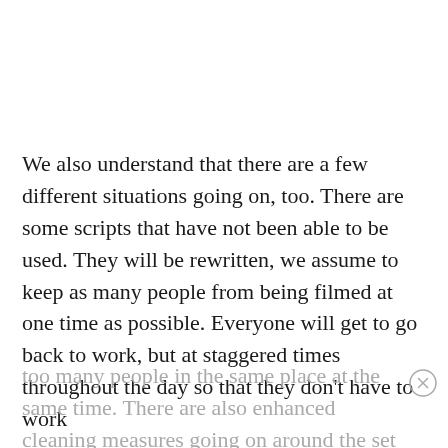We also understand that there are a few different situations going on, too. There are some scripts that have not been able to be used. They will be rewritten, we assume to keep as many people from being filmed at one time as possible. Everyone will get to go back to work, but at staggered times throughout the day so that they don't have to work too many people in the same place at the same time. There are also enhanced cleaning measures going on around the set to ensure that all things are as clean and sanitary as possible.